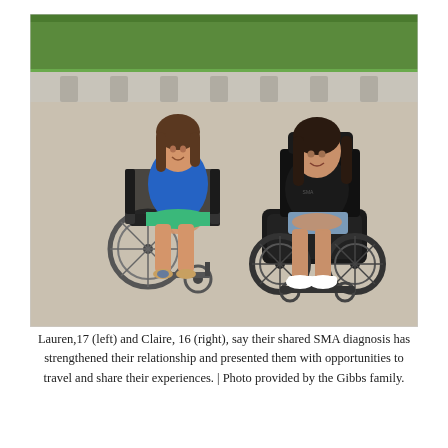[Figure (photo): Two teenage girls sitting in wheelchairs outdoors on a concrete surface with green grass and a concrete bench in the background. The girl on the left (Lauren, 17) wears a blue shirt and colorful skirt and is in a manual wheelchair. The girl on the right (Claire, 16) wears a black shirt and denim shorts and is in a power wheelchair.]
Lauren,17 (left) and Claire, 16 (right), say their shared SMA diagnosis has strengthened their relationship and presented them with opportunities to travel and share their experiences. | Photo provided by the Gibbs family.